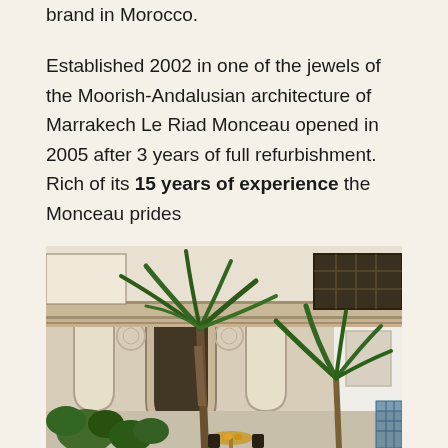brand in Morocco.

Established 2002 in one of the jewels of the Moorish-Andalusian architecture of Marrakech Le Riad Monceau opened in 2005 after 3 years of full refurbishment. Rich of its 15 years of experience the Monceau prides
[Figure (photo): Courtyard of Le Riad Monceau showing Moorish-Andalusian architecture with arched colonnade, ornate detailing on the upper balcony, and several palm trees and tropical plants in the foreground, with a small table and chairs visible.]